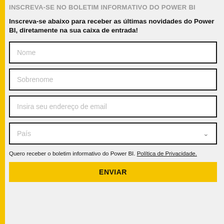INSCREVA-SE NO BOLETIM INFORMATIVO DO POWER BI
Inscreva-se abaixo para receber as últimas novidades do Power BI, diretamente na sua caixa de entrada!
Nome
Sobrenome
Insira seu endereço de email
País
Quero receber o boletim informativo do Power BI. Política de Privacidade.
ENVIAR